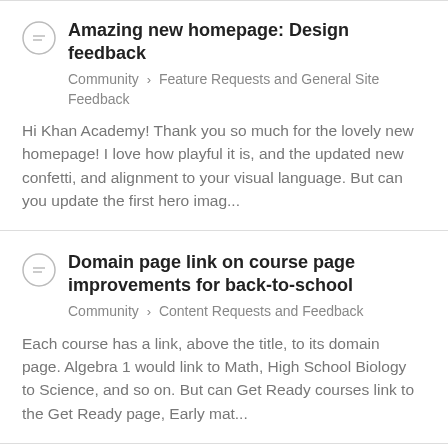Amazing new homepage: Design feedback
Community > Feature Requests and General Site Feedback
Hi Khan Academy! Thank you so much for the lovely new homepage! I love how playful it is, and the updated new confetti, and alignment to your visual language. But can you update the first hero imag...
Domain page link on course page improvements for back-to-school
Community > Content Requests and Feedback
Each course has a link, above the title, to its domain page. Algebra 1 would link to Math, High School Biology to Science, and so on. But can Get Ready courses link to the Get Ready page, Early mat...